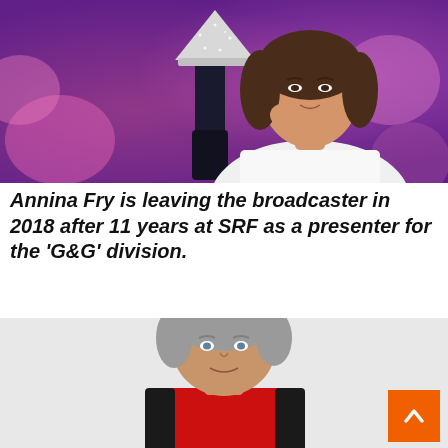[Figure (photo): Portrait photo of Annina Fry, a woman with dark shoulder-length hair, wearing a white blouse, posing next to a decorative lamp with a pink/purple bokeh background.]
Annina Fry is leaving the broadcaster in 2018 after 11 years at SRF as a presenter for the 'G&G' division.
[Figure (photo): Portrait photo of a middle-aged man with grey hair wearing a red and black jacket, against a light grey background.]